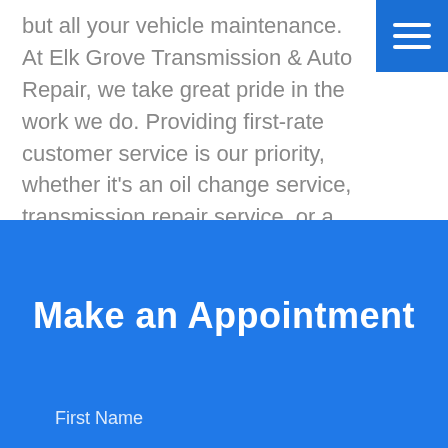but all your vehicle maintenance. At Elk Grove Transmission & Auto Repair, we take great pride in the work we do. Providing first-rate customer service is our priority, whether it's an oil change service, transmission repair service, or a major engine overhaul.
Make an Appointment
First Name